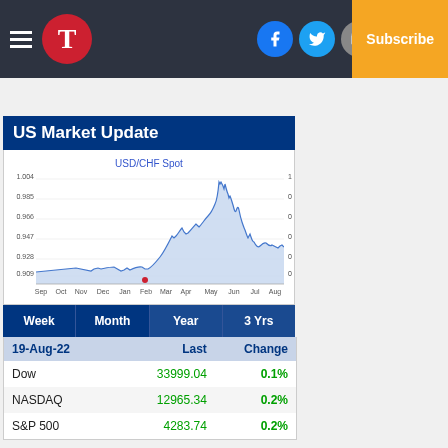T | Log In | Subscribe
[Figure (continuous-plot): USD/CHF Spot line chart showing price movement from Sep through Aug. Y-axis ranges from approximately 0.900 to 1.004. Chart shows a rise from ~0.920 in Sep to peaks near 1.004 around May, then declining to ~0.960 by Aug. X-axis labels: Sep, Oct, Nov, Dec, Jan, Feb, Mar, Apr, May, Jun, Jul, Aug.]
US Market Update
| Week | Month | Year | 3 Yrs |
| --- | --- | --- | --- |
| 19-Aug-22 |  | Last | Change |
| --- | --- | --- | --- |
| Dow |  | 33999.04 | 0.1% |
| NASDAQ |  | 12965.34 | 0.2% |
| S&P 500 |  | 4283.74 | 0.2% |